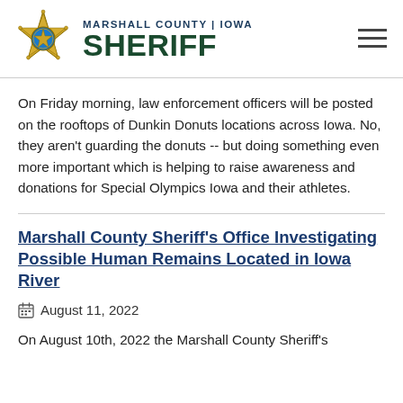[Figure (logo): Marshall County Iowa Sheriff badge logo with gold star and blue center]
MARSHALL COUNTY | IOWA SHERIFF
On Friday morning, law enforcement officers will be posted on the rooftops of Dunkin Donuts locations across Iowa. No, they aren't guarding the donuts -- but doing something even more important which is helping to raise awareness and donations for Special Olympics Iowa and their athletes.
Marshall County Sheriff's Office Investigating Possible Human Remains Located in Iowa River
August 11, 2022
On August 10th, 2022 the Marshall County Sheriff's